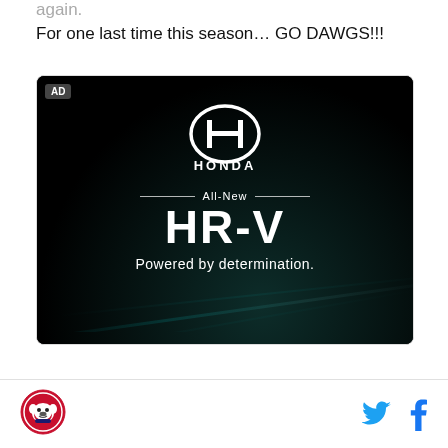again.
For one last time this season… GO DAWGS!!!
[Figure (photo): Honda advertisement for the All-New HR-V with tagline 'Powered by determination.' on a dark background with a car visible at the bottom.]
Bulldogs logo icon, Twitter bird icon, Facebook f icon